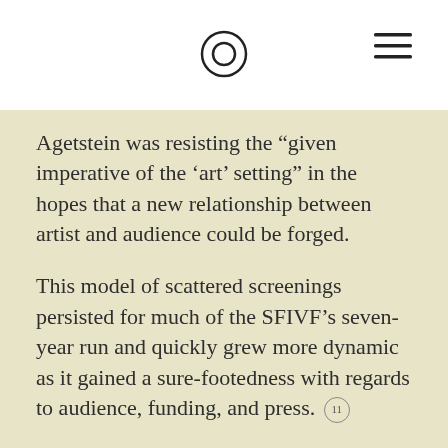[logo icon] [hamburger menu]
Agetstein was resisting the “given imperative of the ‘art’ setting” in the hopes that a new relationship between artist and audience could be forged.
This model of scattered screenings persisted for much of the SFIVF’s seven-year run and quickly grew more dynamic as it gained a sure-footedness with regards to audience, funding, and press. [11]